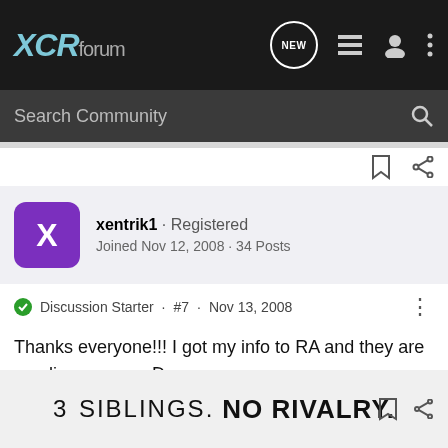XCRforum
Search Community
xentrik1 · Registered
Joined Nov 12, 2008 · 34 Posts
Discussion Starter · #7 · Nov 13, 2008
Thanks everyone!!! I got my info to RA and they are sending me one ;D
[Figure (screenshot): Advertisement banner reading '3 SIBLINGS. NO RIVALRY.']